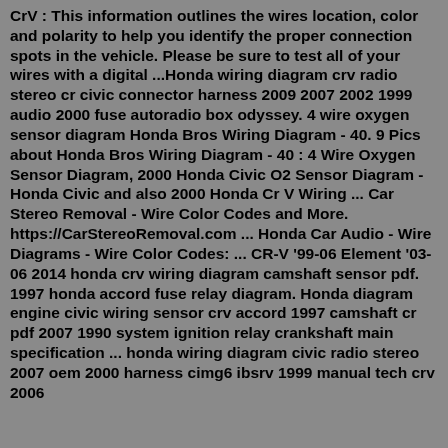CrV : This information outlines the wires location, color and polarity to help you identify the proper connection spots in the vehicle. Please be sure to test all of your wires with a digital ...Honda wiring diagram crv radio stereo cr civic connector harness 2009 2007 2002 1999 audio 2000 fuse autoradio box odyssey. 4 wire oxygen sensor diagram Honda Bros Wiring Diagram - 40. 9 Pics about Honda Bros Wiring Diagram - 40 : 4 Wire Oxygen Sensor Diagram, 2000 Honda Civic O2 Sensor Diagram - Honda Civic and also 2000 Honda Cr V Wiring ... Car Stereo Removal - Wire Color Codes and More. https://CarStereoRemoval.com ... Honda Car Audio - Wire Diagrams - Wire Color Codes: ... CR-V '99-06 Element '03-06 2014 honda crv wiring diagram camshaft sensor pdf. 1997 honda accord fuse relay diagram. Honda diagram engine civic wiring sensor crv accord 1997 camshaft cr pdf 2007 1990 system ignition relay crankshaft main specification ... honda wiring diagram civic radio stereo 2007 oem 2000 harness cimg6 ibsrv 1999 manual tech crv 2006